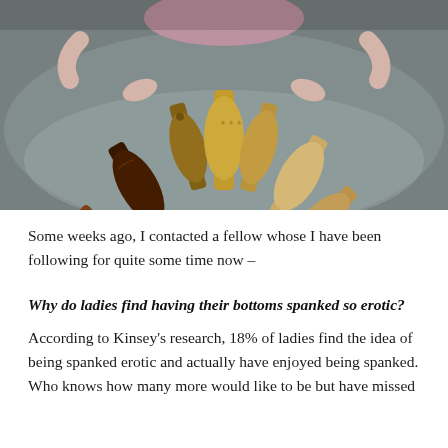[Figure (photo): Overhead photo of a person in pink clothing sitting on a gray bed with multiple wooden paddles of various shapes and wood tones arranged in a fan pattern in front of them]
Some weeks ago, I contacted a fellow whose I have been following for quite some time now –
Why do ladies find having their bottoms spanked so erotic?
According to Kinsey's research, 18% of ladies find the idea of being spanked erotic and actually have enjoyed being spanked. Who knows how many more would like to be but have missed